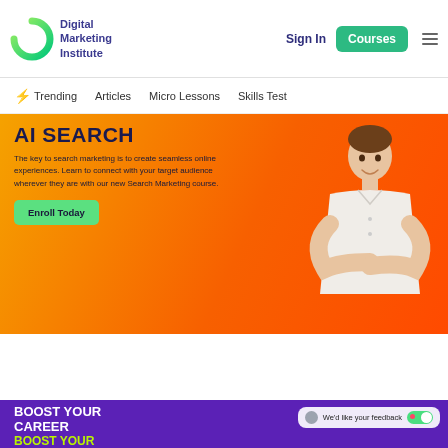Digital Marketing Institute — Sign In | Courses
Trending  Articles  Micro Lessons  Skills Test
[Figure (screenshot): Orange gradient banner with bold heading 'AI SEARCH', descriptive text about search marketing course, 'Enroll Today' green button, and a man in white shirt with arms crossed on the right side]
[Figure (screenshot): Purple banner section with white bold text 'BOOST YOUR CAREER BOOST YOUR' and green highlighted text, with a feedback bubble on the right saying 'We'd like your feedback' with a toggle switch]